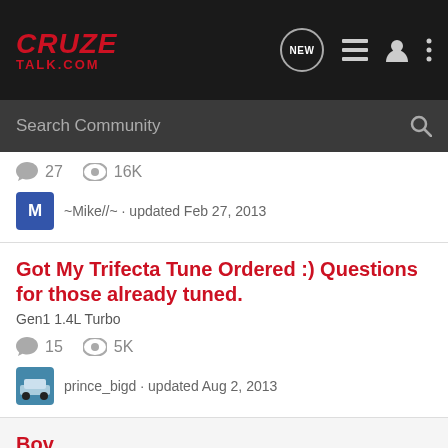CruzeTalk.com — navigation header with logo, NEW, list, user, and menu icons
Search Community
27 replies · 16K views · ~Mike//~ · updated Feb 27, 2013
Got My Trifecta Tune Ordered :) Questions for those already tuned.
Gen1 1.4L Turbo
15 replies · 5K views · prince_bigd · updated Aug 2, 2013
Bov
Gen1 1.4L Turbo